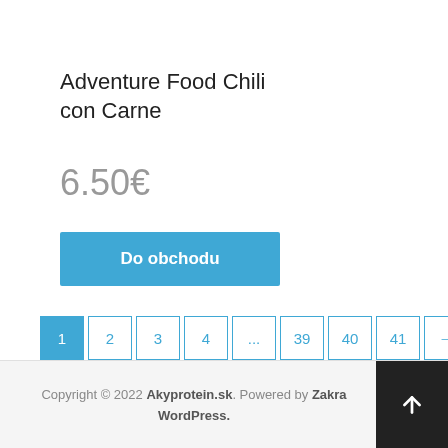Adventure Food Chili con Carne
6.50€
Do obchodu
1 2 3 4 ... 39 40 41 →
Copyright © 2022 Akyprotein.sk. Powered by Zakra WordPress.